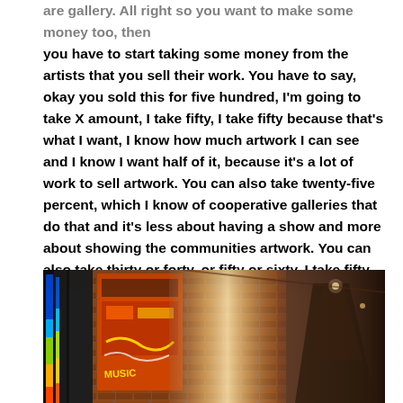are gallery. Alright so you want to make some money too, then you have to start taking some money from the artists that you sell their work. You have to say, okay you sold this for five hundred, I'm going to take X amount, I take fifty, I take fifty because that's what I want, I know how much artwork I can see and I know I want half of it, because it's a lot of work to sell artwork. You can also take twenty-five percent, which I know of cooperative galleries that do that and it's less about having a show and more about showing the communities artwork. You can also take thirty or forty, or fifty or sixty, I take fifty again and it really doesn't matter, you have to set it, you have to have it in the contract that the artists signs and there are other ways to make money.
[Figure (photo): Interior of an art gallery or studio with brick walls, colorful murals/artwork on the left side including orange and dark panels with graffiti-style art, and a corridor visible in the background with light streaming in.]